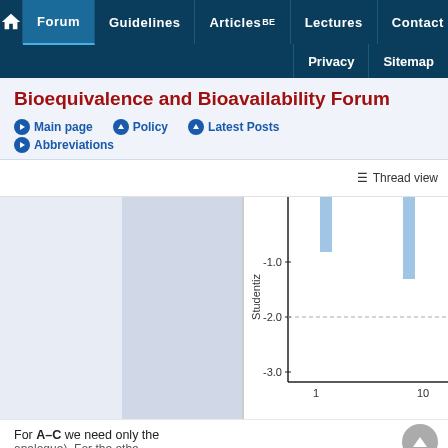Forum | Guidelines | Articles BE | Lectures | Contact | Privacy | Sitemap
Bioequivalence and Bioavailability Forum
Main page | Policy | Latest Posts | Abbreviations
Thread view
[Figure (continuous-plot): Partial view of a plot with y-axis labeled 'Studentiz' showing values -1.0, -2.0, -3.0 and x-axis showing values 1 and 10. Two light blue vertical bars visible near top. Dashed horizontal reference line near -2.0.]
For A–C we need only the analogue). For the othe